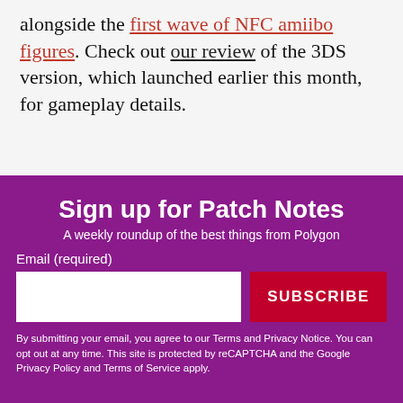alongside the first wave of NFC amiibo figures. Check out our review of the 3DS version, which launched earlier this month, for gameplay details.
Sign up for Patch Notes
A weekly roundup of the best things from Polygon
Email (required)
SUBSCRIBE
By submitting your email, you agree to our Terms and Privacy Notice. You can opt out at any time. This site is protected by reCAPTCHA and the Google Privacy Policy and Terms of Service apply.